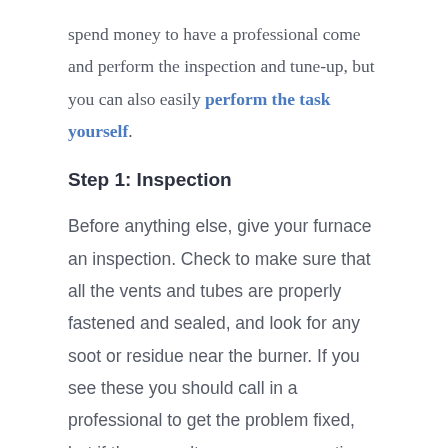spend money to have a professional come and perform the inspection and tune-up, but you can also easily perform the task yourself.
Step 1: Inspection
Before anything else, give your furnace an inspection. Check to make sure that all the vents and tubes are properly fastened and sealed, and look for any soot or residue near the burner. If you see these you should call in a professional to get the problem fixed, but if there aren't any, you can continue your inspection. You should also take the time to smell the air around the furnace's gas tube. If you smell rotten eggs it